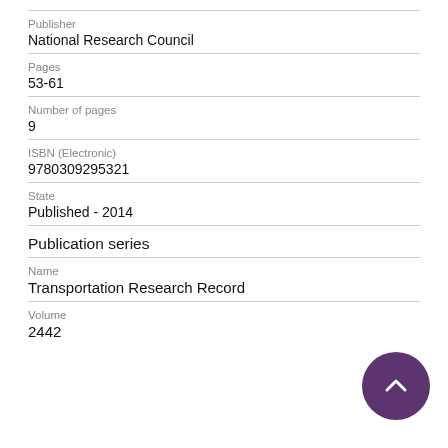Publisher
National Research Council
Pages
53-61
Number of pages
9
ISBN (Electronic)
9780309295321
State
Published - 2014
Publication series
Name
Transportation Research Record
Volume
2442